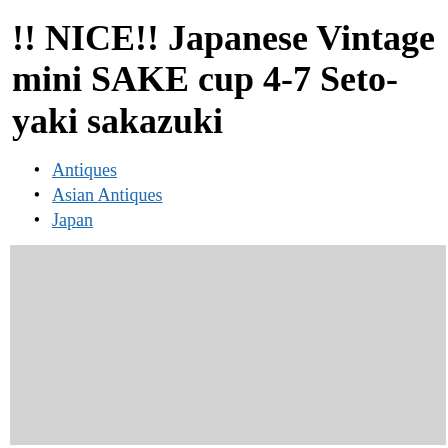!! NICE!! Japanese Vintage mini SAKE cup 4-7 Seto-yaki sakazuki
Antiques
Asian Antiques
Japan
[Figure (photo): Gray/light background photo area, appears to show a light gray surface, possibly a product photo placeholder or faded image of sake cups]